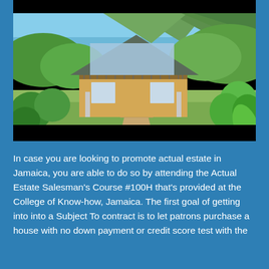[Figure (photo): A two-story house with large glass upper-floor windows and a wooden balcony, surrounded by lush green tropical vegetation. The house has a yellow lower story and a dark roof. A stairway leads up to the entrance. Mountains and blue sky are visible in the background.]
In case you are looking to promote actual estate in Jamaica, you are able to do so by attending the Actual Estate Salesman's Course #100H that's provided at the College of Know-how, Jamaica. The first goal of getting into into a Subject To contract is to let patrons purchase a house with no down payment or credit score test with the